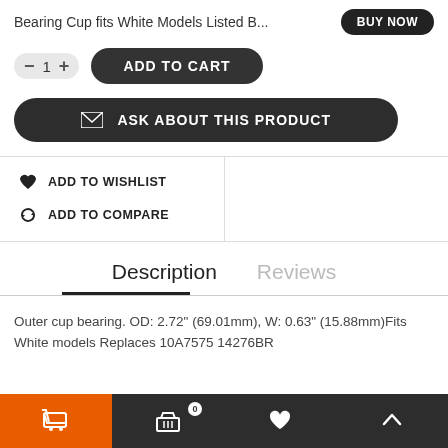Bearing Cup fits White Models Listed B...
ADD TO CART
ASK ABOUT THIS PRODUCT
ADD TO WISHLIST
ADD TO COMPARE
Description   Reviews
Outer cup bearing. OD: 2.72" (69.01mm), W: 0.63" (15.88mm)Fits White models Replaces 10A7575 14276BR
BUY NOW  cart 0  heart  up